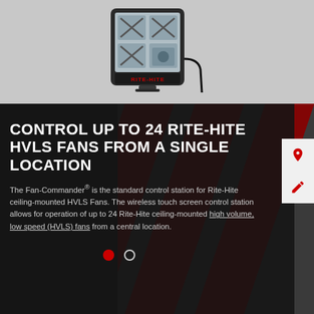[Figure (photo): Rite-Hite Fan-Commander wireless touch screen control station device, shown mounted with a cable, displayed on a light gray background.]
CONTROL UP TO 24 RITE-HITE HVLS FANS FROM A SINGLE LOCATION
The Fan-Commander® is the standard control station for Rite-Hite ceiling-mounted HVLS Fans. The wireless touch screen control station allows for operation of up to 24 Rite-Hite ceiling-mounted high volume, low speed (HVLS) fans from a central location.